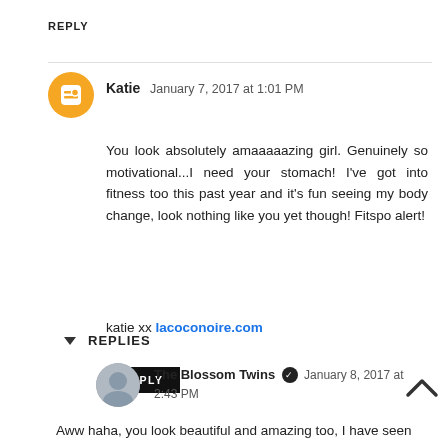REPLY
Katie  January 7, 2017 at 1:01 PM
You look absolutely amaaaaazing girl. Genuinely so motivational...I need your stomach! I've got into fitness too this past year and it's fun seeing my body change, look nothing like you yet though! Fitspo alert!
katie xx lacoconoire.com
REPLY
▼ REPLIES
The Blossom Twins  January 8, 2017 at 2:43 PM
Aww haha, you look beautiful and amazing too, I have seen those Instagram posts, your stomach is